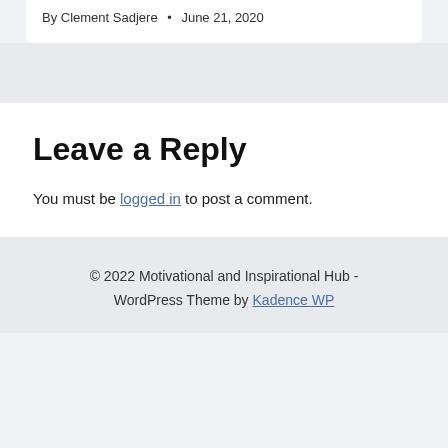By Clement Sadjere • June 21, 2020
Leave a Reply
You must be logged in to post a comment.
© 2022 Motivational and Inspirational Hub - WordPress Theme by Kadence WP